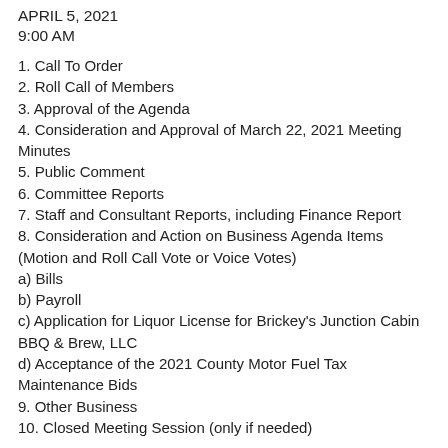APRIL 5, 2021
9:00 AM
1. Call To Order
2. Roll Call of Members
3. Approval of the Agenda
4. Consideration and Approval of March 22, 2021 Meeting Minutes
5. Public Comment
6. Committee Reports
7. Staff and Consultant Reports, including Finance Report
8. Consideration and Action on Business Agenda Items (Motion and Roll Call Vote or Voice Votes)
a) Bills
b) Payroll
c) Application for Liquor License for Brickey's Junction Cabin BBQ & Brew, LLC
d) Acceptance of the 2021 County Motor Fuel Tax Maintenance Bids
9. Other Business
10. Closed Meeting Session (only if needed)